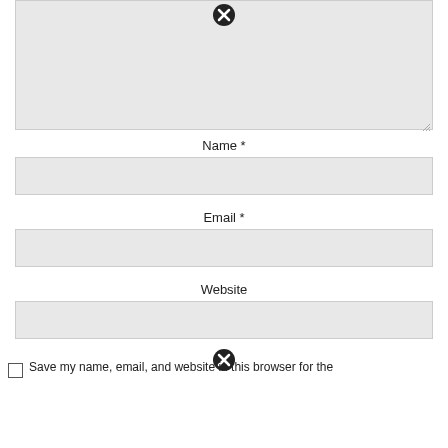[Figure (screenshot): Textarea input box (grayed out) with close/error icon at top center and resize handle at bottom right]
Name *
[Figure (screenshot): Text input field for Name (grayed out background)]
Email *
[Figure (screenshot): Text input field for Email (grayed out background)]
Website
[Figure (screenshot): Text input field for Website (grayed out background)]
[Figure (screenshot): Close/error icon overlapping save checkbox row]
Save my name, email, and website in this browser for the